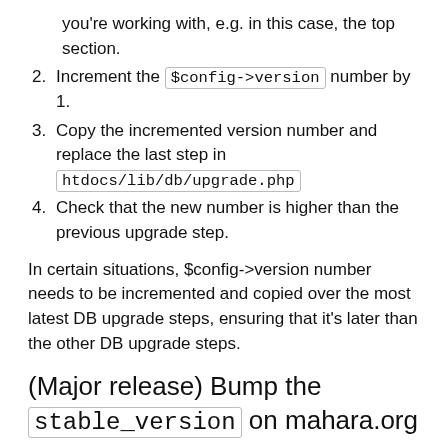you're working with, e.g. in this case, the top section.
Increment the $config->version number by 1.
Copy the incremented version number and replace the last step in htdocs/lib/db/upgrade.php
Check that the new number is higher than the previous upgrade step.
In certain situations, $config->version number needs to be incremented and copied over the most latest DB upgrade steps, ensuring that it's later than the other DB upgrade steps.
(Major release) Bump the stable_version on mahara.org
This is done via the htdocs/admin/cli/create_version.php script which is controlled by cron and will update once a day.